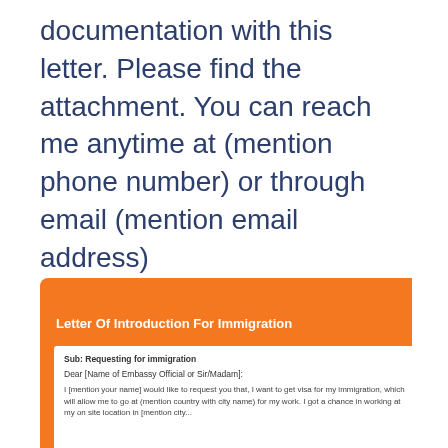documentation with this letter. Please find the attachment. You can reach me anytime at (mention phone number) or through email (mention email address)
Sincerely,
[Sender Name]
[Figure (screenshot): Orange card with title 'Letter Of Introduction For Immigration' and a preview of a letter template with subject 'Sub: Requesting for immigration', salutation 'Dear [Name of Embassy Official or Sir/Madam]:', and body text beginning 'I [mention your name] would like to request you that, I want to get visa for my immigration, which will allow me to go at (mention country with city name) for my work. I got a chance in working at my on site location in [mention city...']